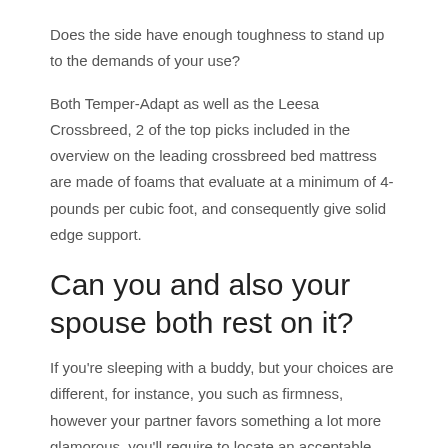Does the side have enough toughness to stand up to the demands of your use?
Both Temper-Adapt as well as the Leesa Crossbreed, 2 of the top picks included in the overview on the leading crossbreed bed mattress are made of foams that evaluate at a minimum of 4-pounds per cubic foot, and consequently give solid edge support.
Can you and also your spouse both rest on it?
If you're sleeping with a buddy, but your choices are different, for instance, you such as firmness, however your partner favors something a lot more glamorous, you'll require to locate an acceptable compromise. Look for one of the most comfy for your companion with musculoskeletal issues (such as back pain) according to the Cleveland Clinic's Santhosh Tomas. When neither is experiencing any kind of concerns on this front it's feasible to